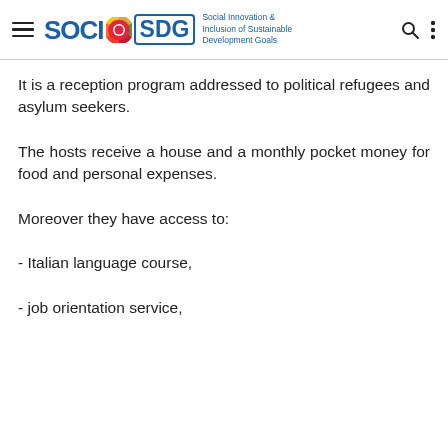SOCI SDG — Social Innovation & Inclusion of Sustainable Development Goals
It is a reception program addressed to political refugees and asylum seekers.
The hosts receive a house and a monthly pocket money for food and personal expenses.
Moreover they have access to:
- Italian language course,
- job orientation service,